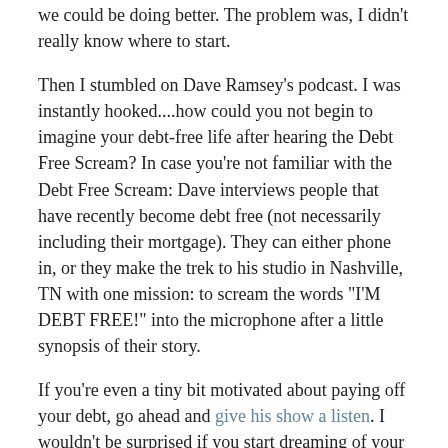we could be doing better. The problem was, I didn't really know where to start.
Then I stumbled on Dave Ramsey's podcast. I was instantly hooked....how could you not begin to imagine your debt-free life after hearing the Debt Free Scream? In case you're not familiar with the Debt Free Scream: Dave interviews people that have recently become debt free (not necessarily including their mortgage). They can either phone in, or they make the trek to his studio in Nashville, TN with one mission: to scream the words "I'M DEBT FREE!" into the microphone after a little synopsis of their story.
If you're even a tiny bit motivated about paying off your debt, go ahead and give his show a listen. I wouldn't be surprised if you start dreaming of your own debt-free scream.
LOOKING PAST THE SCREAM
So here I was, listening to these people screaming into a microphone and feeling so happy for them. I was even motivated to start paying off our mortgage sooner rather than later. But it wasn't long before I realized that I was craving more information regarding personal finance.